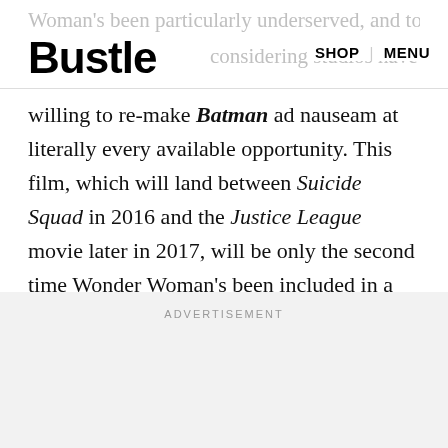Bustle | SHOP MENU
willing to re-make Batman ad nauseam at literally every available opportunity. This film, which will land between Suicide Squad in 2016 and the Justice League movie later in 2017, will be only the second time Wonder Woman's been included in a feature film, and the first time she's ever gotten to star as the central character in one.
ADVERTISEMENT